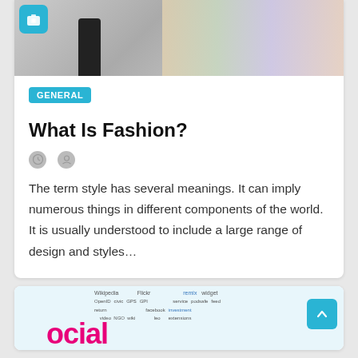[Figure (photo): Top portion of a card showing a man in black suit standing against a graffiti/colorful wall background, with a camera icon badge in the top left corner]
GENERAL
What Is Fashion?
The term style has several meanings. It can imply numerous things in different components of the world. It is usually understood to include a large range of design and styles…
[Figure (photo): Bottom card showing a social media word cloud with colorful text including Wikipedia, Flickr, OpenID, GPS, NGO, wiki, app, remix, widget, service, podsafe, feed, facebook, investment, and large pink 'social' text]